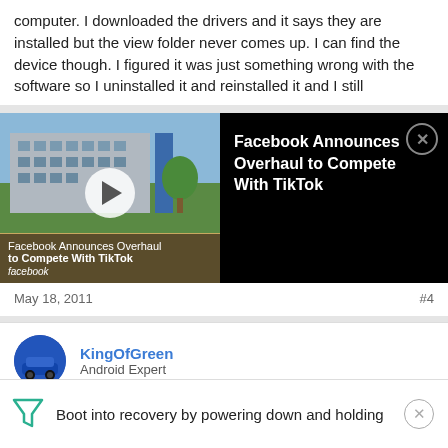computer. I downloaded the drivers and it says they are installed but the view folder never comes up. I can find the device though. I figured it was just something wrong with the software so I uninstalled it and reinstalled it and I still
[Figure (screenshot): Video thumbnail showing Facebook building with play button overlay and caption 'Facebook Announces Overhaul to Compete With TikTok' with facebook logo, alongside black panel showing title 'Facebook Announces Overhaul to Compete With TikTok' and close button]
May 18, 2011
#4
KingOfGreen
Android Expert
Boot into recovery by powering down and holding